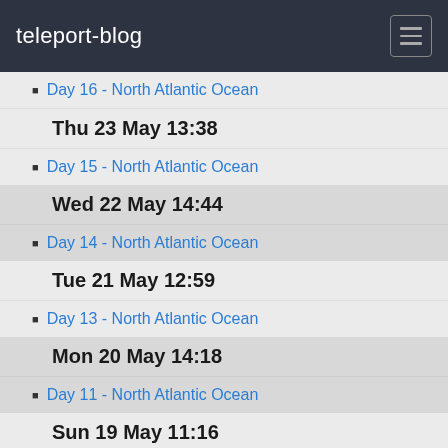teleport-blog
Day 16 - North Atlantic Ocean
Thu 23 May 13:38
Day 15 - North Atlantic Ocean
Wed 22 May 14:44
Day 14 - North Atlantic Ocean
Tue 21 May 12:59
Day 13 - North Atlantic Ocean
Mon 20 May 14:18
Day 11 - North Atlantic Ocean
Sun 19 May 11:16
Day 11 - North Atlantic Ocean
Sat 18 May 12:56
Day 10 - North Atlantic Ocean
Fri 17 May 10:00
Day 9 - North Atlantic Ocean